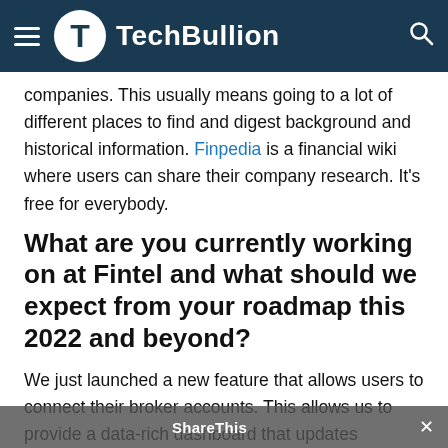TechBullion
companies. This usually means going to a lot of different places to find and digest background and historical information. Finpedia is a financial wiki where users can share their company research. It's free for everybody.
What are you currently working on at Fintel and what should we expect from your roadmap this 2022 and beyond?
We just launched a new feature that allows users to connect their broker accounts. This allows us to provide a data-rich dashboard that updates automatically when users make trades in any of their accounts. It's a big time-saver. This will also allow us to generate performance metrics for users that span their accounts, as well as